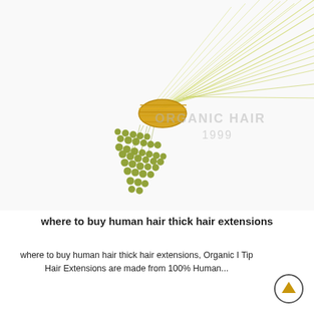[Figure (photo): Close-up photo of a bundle of yellow-green I-tip hair extensions with olive/yellow-green keratin tips at the bottom, bound together with gold metallic thread. The hair fans out upward to the right against a white background. A watermark reads 'ORGANIC HAIR 1999' overlaid on the image.]
where to buy human hair thick hair extensions
where to buy human hair thick hair extensions, Organic I Tip Hair Extensions are made from 100% Human...